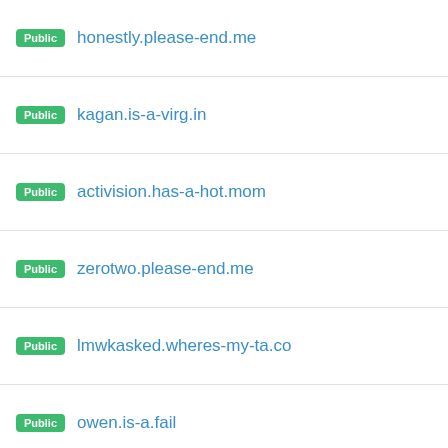Public honestly.please-end.me
Public kagan.is-a-virg.in
Public activision.has-a-hot.mom
Public zerotwo.please-end.me
Public lmwkasked.wheres-my-ta.co
Public owen.is-a.fail
Public your-mother.is-a-virg.in
Public mikey.has-no-bra.in